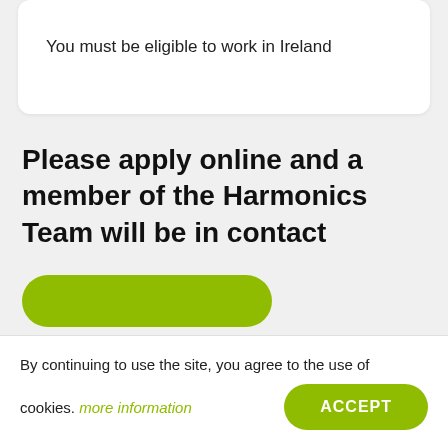You must be eligible to work in Ireland
Please apply online and a member of the Harmonics Team will be in contact
By continuing to use the site, you agree to the use of cookies. more information
ACCEPT